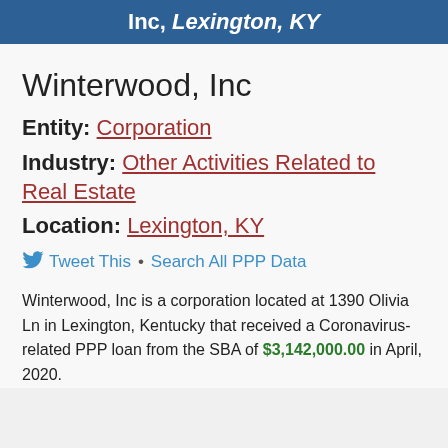Inc, Lexington, KY
Winterwood, Inc
Entity: Corporation
Industry: Other Activities Related to Real Estate
Location: Lexington, KY
Tweet This • Search All PPP Data
Winterwood, Inc is a corporation located at 1390 Olivia Ln in Lexington, Kentucky that received a Coronavirus-related PPP loan from the SBA of $3,142,000.00 in April, 2020.